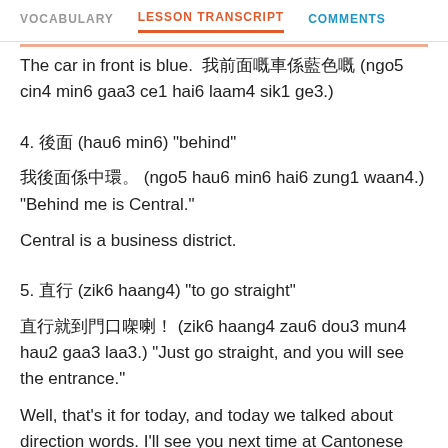VOCABULARY  LESSON TRANSCRIPT  COMMENTS
The car in front is blue. 我前面嘅車係藍色嘅。 (ngo5 cin4 min6 gaa3 ce1 hai6 laam4 sik1 ge3.)
4. 後面 (hau6 min6) "behind"
我後面係中環。 (ngo5 hau6 min6 hai6 zung1 waan4.) "Behind me is Central."
Central is a business district.
5. 直行 (zik6 haang4) "to go straight"
直行就到門口㗎喇。 (zik6 haang4 zau6 dou3 mun4 hau2 gaa3 laa3.) "Just go straight, and you will see the entrance."
Well, that's it for today, and today we talked about direction words. I'll see you next time at Cantonese